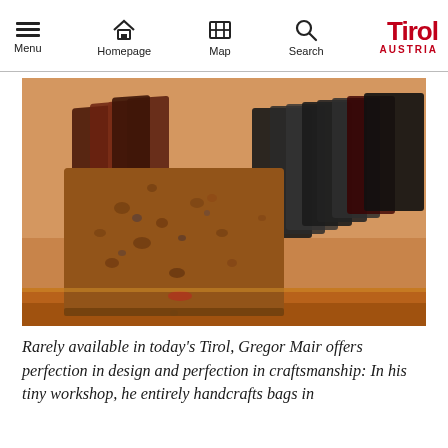Menu | Homepage | Map | Search | Tirol Austria
[Figure (photo): Close-up photo of handcrafted leather wallets/bags displayed on a wooden shelf. A textured brown leather wallet is in the foreground, with several dark leather items behind it. Warm orange-toned wooden background.]
Rarely available in today's Tirol, Gregor Mair offers perfection in design and perfection in craftsmanship: In his tiny workshop, he entirely handcrafts bags in